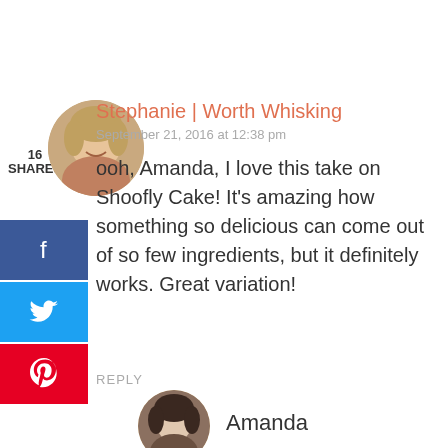16 SHARES
Stephanie | Worth Whisking
September 21, 2016 at 12:38 pm
ooh, Amanda, I love this take on Shoofly Cake! It’s amazing how something so delicious can come out of so few ingredients, but it definitely works. Great variation!
REPLY
Amanda